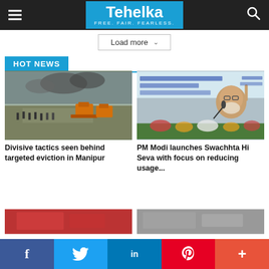Tehelka — FREE. FAIR. FEARLESS.
Load more
HOT NEWS
[Figure (photo): Aerial/ground view of eviction scene in Manipur with bulldozers and security forces amid smoke]
Divisive tactics seen behind targeted eviction in Manipur
[Figure (photo): PM Modi speaking at a podium with microphone, finger raised, at Swachhta Hi Seva event]
PM Modi launches Swachhta Hi Seva with focus on reducing usage...
[Figure (photo): Partial image with red tones at bottom of page]
[Figure (photo): Partial greyscale/colour image at bottom of page]
f  Twitter  in  P  +